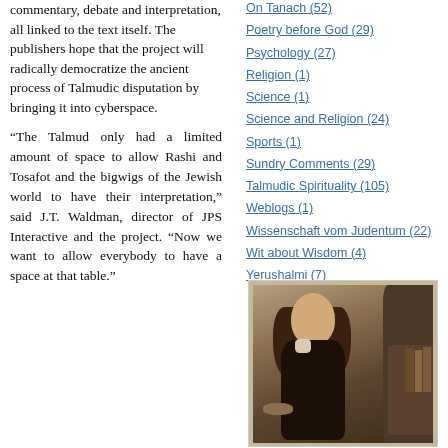commentary, debate and interpretation, all linked to the text itself. The publishers hope that the project will radically democratize the ancient process of Talmudic disputation by bringing it into cyberspace.
“The Talmud only had a limited amount of space to allow Rashi and Tosafot and the bigwigs of the Jewish world to have their interpretation,” said J.T. Waldman, director of JPS Interactive and the project. “Now we want to allow everybody to have a space at that table.”
On Tanach (52)
Poetry before God (29)
Psychology (27)
Religion (1)
Science (1)
Science and Religion (24)
Sports (1)
Sundry Comments (29)
Talmudic Spirituality (105)
Weblogs (1)
Wissenschaft vom Judentum (22)
Wit about Wisdom (4)
Yerushalmi (7)
[Figure (photo): A historical portrait painting or engraving of a man with long dark curly hair, wearing dark clothing with a white collar, seated against a dark draped background with bookshelves visible on the right.]